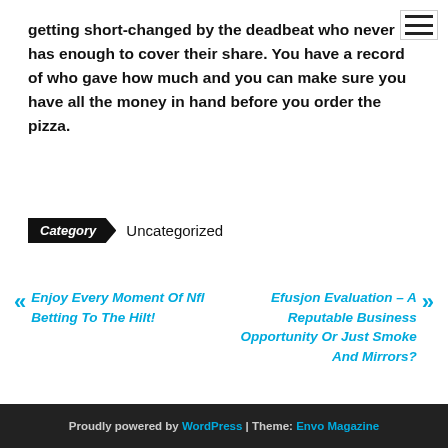getting short-changed by the deadbeat who never has enough to cover their share. You have a record of who gave how much and you can make sure you have all the money in hand before you order the pizza.
Category  Uncategorized
« Enjoy Every Moment Of Nfl Betting To The Hilt!
Efusjon Evaluation – A Reputable Business Opportunity Or Just Smoke And Mirrors? »
Proudly powered by WordPress | Theme: Envo Magazine